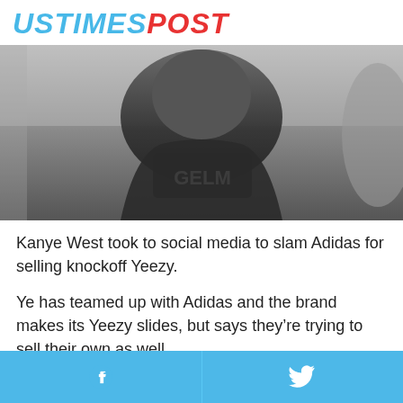USTIMESPOST
[Figure (photo): Black and white photo of a person wearing a hoodie and leather jacket, face partially visible]
Kanye West took to social media to slam Adidas for selling knockoff Yeezy.
Ye has teamed up with Adidas and the brand makes its Yeezy slides, but says they're trying to sell their own as well.
“YOU DRIVE THIS down the same road Kobe drove by,” he wrote alongside an image of the slide.
Facebook | Twitter share buttons